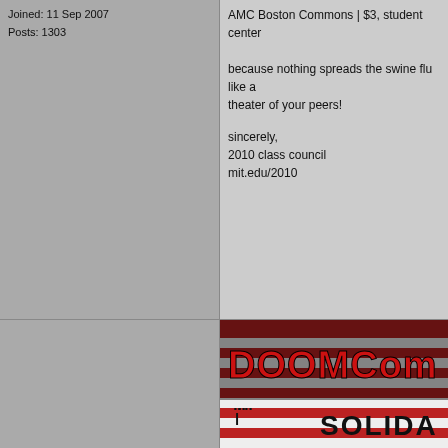Joined: 11 Sep 2007
Posts: 1303
AMC Boston Commons | $3, student center

because nothing spreads the swine flu like a theater of your peers!

sincerely,
2010 class council
mit.edu/2010
[Figure (illustration): DOOMCom Solidarity banner with American flag background, red text reading DOOMCom and SOLIDA]
imo.

Edit: To clarify, the tickets will go on sale at 1 per MIT ID.
Back to top
profile | pm | email
mchicken is dejected.
Cover of Rush's Seminal Album
[Figure (photo): Cover of Rush's Moving Pictures album showing dark/black cover with RUSH text]
Posted: Wed Apr 29, 2009 9:45 pm   Post subject:
Oh fun, an event I can't attend.